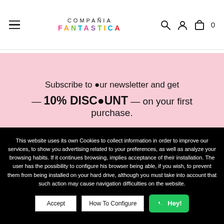COMPAÑIA FANTASTICA — navigation header with hamburger menu, logo, search, account, and cart icons
Subscribe to our newsletter and get — 10% DISCOUNT — on your first purchase.
This website uses its own Cookies to collect information in order to improve our services, to show you advertising related to your preferences, as well as analyze your browsing habits. If it continues browsing, implies acceptance of their installation. The user has the possibility to configure his browser being able, if you wish, to prevent them from being installed on your hard drive, although you must take into account that such action may cause navigation difficulties on the website.
Accept | How To Configure | Hey!